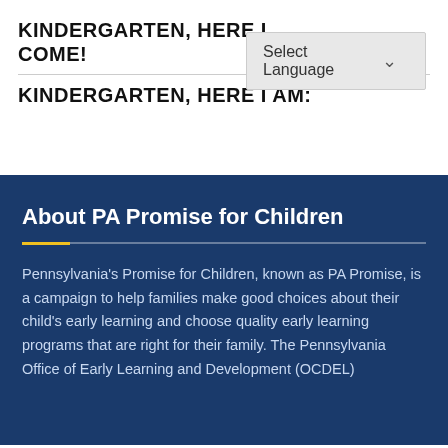KINDERGARTEN, HERE I COME!
KINDERGARTEN, HERE I AM:
About PA Promise for Children
Pennsylvania's Promise for Children, known as PA Promise, is a campaign to help families make good choices about their child's early learning and choose quality early learning programs that are right for their family. The Pennsylvania Office of Early Learning and Development (OCDEL)